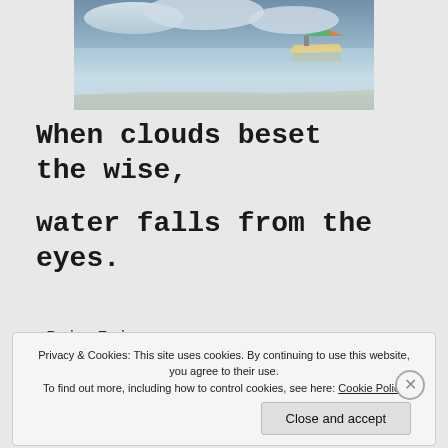[Figure (photo): Coastal beach scene with calm shallow water, cloudy sky, and a boat visible in the background]
When clouds beset the wise,

water falls from the eyes.
~RaineFairy
Privacy & Cookies: This site uses cookies. By continuing to use this website, you agree to their use.
To find out more, including how to control cookies, see here: Cookie Policy
Close and accept